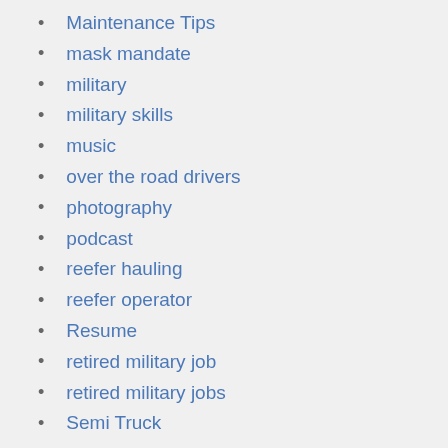Maintenance Tips
mask mandate
military
military skills
music
over the road drivers
photography
podcast
reefer hauling
reefer operator
Resume
retired military job
retired military jobs
Semi Truck